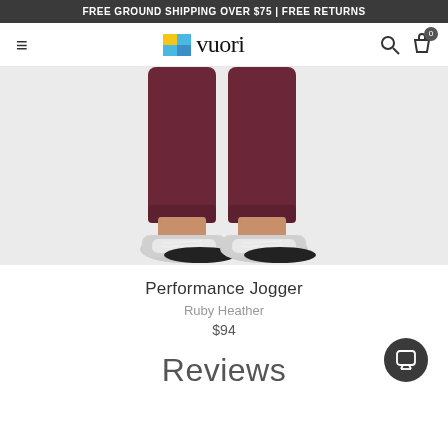FREE GROUND SHIPPING OVER $75 | FREE RETURNS
[Figure (logo): Vuori brand logo with colorful square icon and 'vuori' wordmark]
[Figure (photo): Lower body of a person wearing dark burgundy/ruby heather jogger pants and white sneakers, standing on a white background]
Performance Jogger
Ruby Heather
$94
Reviews